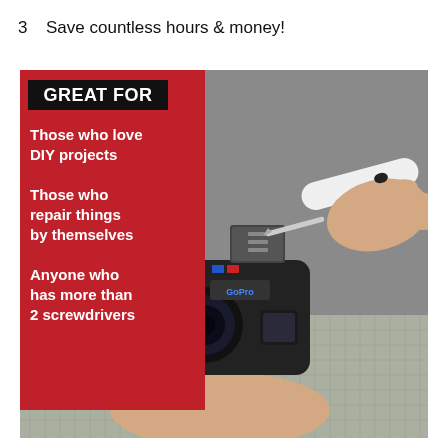3    Save countless hours & money!
[Figure (photo): Person using a screwdriver to repair a GoPro action camera, held in both hands over a cutting mat. A red overlay box on the left reads: GREAT FOR / Those who love DIY projects / Those who repair things by themselves / Anyone who has more than 2 screwdrivers]